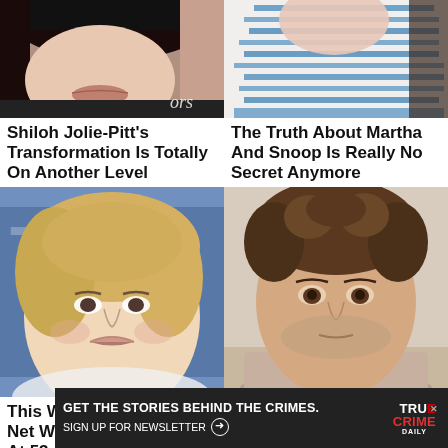[Figure (photo): Close-up photo of Shiloh Jolie-Pitt, partial face visible, dark hair]
[Figure (photo): Close-up photo of Martha Stewart and Snoop Dogg, person in blue and white striped shirt]
Shiloh Jolie-Pitt's Transformation Is Totally On Another Level
The Truth About Martha And Snoop Is Really No Secret Anymore
[Figure (photo): Photo of Anne Heche smiling, blonde hair, at awards event]
[Figure (photo): Photo of Ashton Kutcher, brown curly hair, stubble]
This Was Anne Heche's Net Worth At 53
The Tragedy Of Ashton Kutcher Is Plain Sad
[Figure (infographic): Ad banner: GET THE STORIES BEHIND THE CRIMES. SIGN UP FOR NEWSLETTER. True Crime Daily logo.]